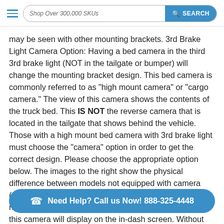Shop Over 300,000 SKUs  SEARCH
may be seen with other mounting brackets. 3rd Brake Light Camera Option: Having a bed camera in the third 3rd brake light (NOT in the tailgate or bumper) will change the mounting bracket design. This bed camera is commonly referred to as "high mount camera" or "cargo camera." The view of this camera shows the contents of the truck bed. This IS NOT the reverse camera that is located in the tailgate that shows behind the vehicle. Those with a high mount bed camera with 3rd brake light must choose the "camera" option in order to get the correct design. Please choose the appropriate option below. The images to the right show the physical difference between models not equipped with camera (top right) and models equipped with camera (bottom right). The image below displays the viewing area that this camera will display on the in-dash screen. Without Camera With Camera *Please note that VMP-AM-V8-DC-RAM-2009-1500 is designed for trucks with ... model. Incandescent mounting plates and LED mounting
Need Help? Call us Now! 888-325-4448